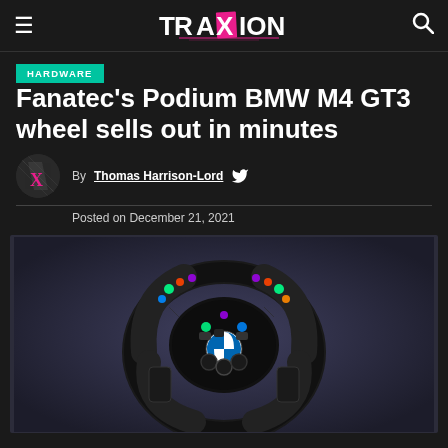TraXion — navigation header with hamburger menu, logo, and search icon
HARDWARE
Fanatec's Podium BMW M4 GT3 wheel sells out in minutes
By Thomas Harrison-Lord
Posted on December 21, 2021
[Figure (photo): Fanatec Podium BMW M4 GT3 steering wheel with RGB lighting on dark background]